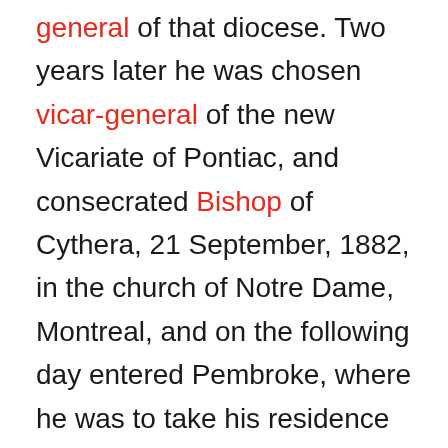general of that diocese. Two years later he was chosen vicar-general of the new Vicariate of Pontiac, and consecrated Bishop of Cythera, 21 September, 1882, in the church of Notre Dame, Montreal, and on the following day entered Pembroke, where he was to take his residence as Vicar Apostolic of Pontiac. When the vicariate was erected into a diocese he became its first bishop. The works and progress of the diocese under the administration of Bishop Lorrain are proofs of his untiring energy, apostolic zeal, and keen business ability. He visited the Indian missions of the north five times. In 1884 he covered a distance of fifteen hundred miles to the missions of Abbitibbi, Moose